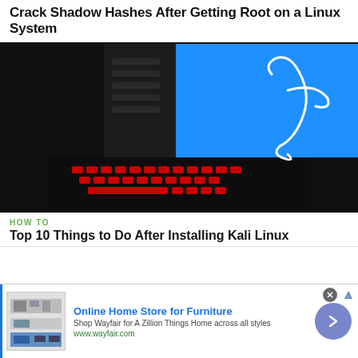Crack Shadow Hashes After Getting Root on a Linux System
[Figure (photo): Photo of a laptop with a red backlit keyboard and a dark screen showing the Kali Linux logo (a dragon/snake figure) on a blue background with a dark panel on the left side.]
HOW TO
Top 10 Things to Do After Installing Kali Linux
[Figure (screenshot): Advertisement for Wayfair Online Home Store for Furniture. Shows product images of furniture on the left, bold blue headline 'Online Home Store for Furniture', body text 'Shop Wayfair for A Zillion Things Home across all styles', green URL 'www.wayfair.com', and a purple circle arrow button on the right. A close (X) button and AdChoices icon appear at top right.]